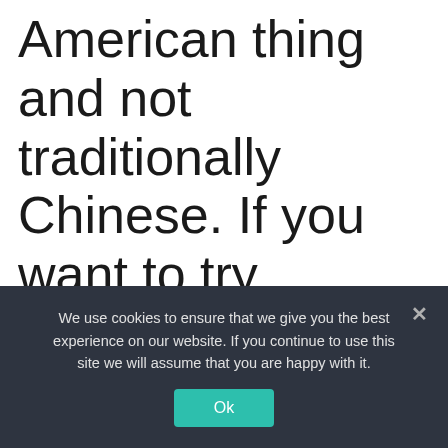chicken is 100% an American thing and not traditionally Chinese. If you want to try authentic Chinese food, go with peking duck or pork dumplings.
We use cookies to ensure that we give you the best experience on our website. If you continue to use this site we will assume that you are happy with it.